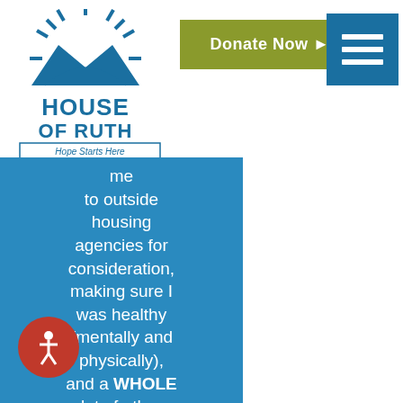[Figure (logo): House of Ruth logo with sunburst/mountains graphic, text: HOUSE OF RUTH, Hope Starts Here]
[Figure (other): Olive/yellow-green Donate Now button with arrow]
[Figure (other): Blue hamburger menu button with three white bars]
me to outside housing agencies for consideration, making sure I was healthy (mentally and physically), and a WHOLE lot of other things too numerous to mention. If I had not been [stay]ing at the [Ho]use of Ruth, I would
[Figure (other): Red accessibility icon circle with person/wheelchair symbol]